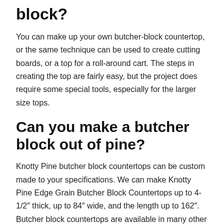block?
You can make up your own butcher-block countertop, or the same technique can be used to create cutting boards, or a top for a roll-around cart. The steps in creating the top are fairly easy, but the project does require some special tools, especially for the larger size tops.
Can you make a butcher block out of pine?
Knotty Pine butcher block countertops can be custom made to your specifications. We can make Knotty Pine Edge Grain Butcher Block Countertops up to 4-1/2″ thick, up to 84″ wide, and the length up to 162″. Butcher block countertops are available in many other hardwood species.